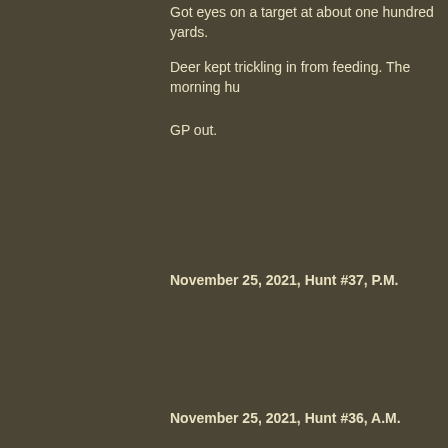Got eyes on a target at about one hundred yards.
Deer kept trickling in from feeding. The morning hu
GP out.
November 25, 2021, Hunt #37, P.M.
Later than usual getting to the tree. Family time wa small buck came chasing some fawns down the hi from but came out later in the same spot and gave
Lots of does and fawns were coming out. Only a m north of me. Where did he come from? Then some Dang it! One spooky deer this time of year can tak something might appear.
After twenty minutes they started to filter back out would make an appearance. Chaps my hide when morning. A short hunt but enjoyable.
GP out.
November 25, 2021, Hunt #36, A.M.